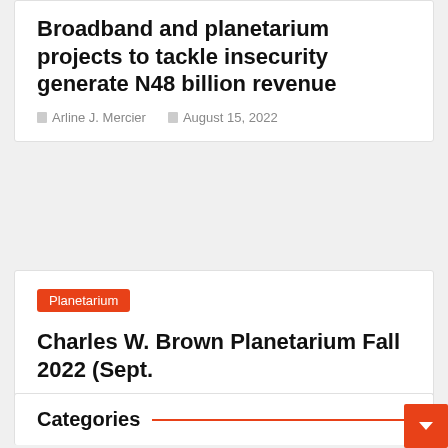Broadband and planetarium projects to tackle insecurity generate N48 billion revenue
Arline J. Mercier   August 15, 2022
Planetarium
Charles W. Brown Planetarium Fall 2022 (Sept.
Arline J. Mercier   August 15, 2022
Categories